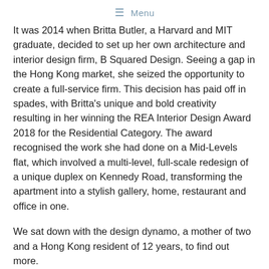≡  Menu
It was 2014 when Britta Butler, a Harvard and MIT graduate, decided to set up her own architecture and interior design firm, B Squared Design. Seeing a gap in the Hong Kong market, she seized the opportunity to create a full-service firm. This decision has paid off in spades, with Britta's unique and bold creativity resulting in her winning the REA Interior Design Award 2018 for the Residential Category. The award recognised the work she had done on a Mid-Levels flat, which involved a multi-level, full-scale redesign of a unique duplex on Kennedy Road, transforming the apartment into a stylish gallery, home, restaurant and office in one.
We sat down with the design dynamo, a mother of two and a Hong Kong resident of 12 years, to find out more.